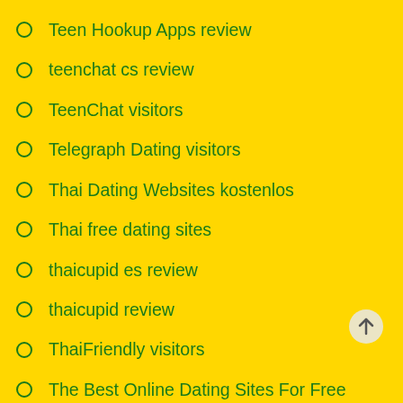Teen Hookup Apps review
teenchat cs review
TeenChat visitors
Telegraph Dating visitors
Thai Dating Websites kostenlos
Thai free dating sites
thaicupid es review
thaicupid review
ThaiFriendly visitors
The Best Online Dating Sites For Free
the inner circle visitors